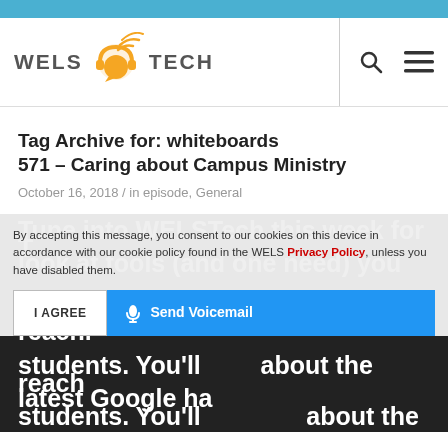[Figure (logo): WELS Tech logo with orange headphones icon and wifi signal arcs]
Tag Archive for: whiteboards
571 – Caring about Campus Ministry
October 16, 2018 / in episode, General
By accepting this message, you consent to our cookies on this device in accordance with our cookie policy found in the WELS Privacy Policy, unless you have disabled them.
I AGREE
🎤 Send Voicemail
Tune into WELSTech this week for a look at tools (and one need) you can use for reaching out to students locally or students. You'll find out about the latest Google hardware and...